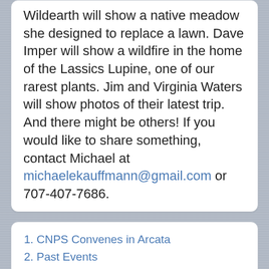Wildearth will show a native meadow she designed to replace a lawn. Dave Imper will show a wildfire in the home of the Lassics Lupine, one of our rarest plants. Jim and Virginia Waters will show photos of their latest trip. And there might be others! If you would like to share something, contact Michael at michaelekauffmann@gmail.com or 707-407-7686.
1. CNPS Convenes in Arcata
2. Past Events
3. Events 2006
4. Events 2007
You are here: Home > Activities > Calendar > TOP_MENU_CONTENT > Activities